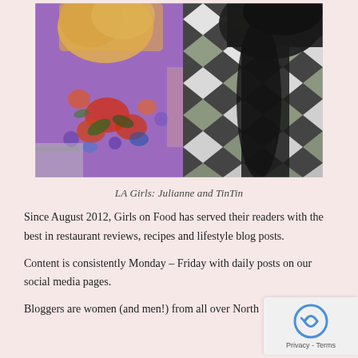[Figure (photo): Two women posing together. Left woman has blonde hair and wears a purple floral top. Right woman has long dark hair and wears a black-and-white zigzag/chevron patterned top with green accents.]
LA Girls: Julianne and TinTin
Since August 2012, Girls on Food has served their readers with the best in restaurant reviews, recipes and lifestyle blog posts.
Content is consistently Monday – Friday with daily posts on our social media pages.
Bloggers are women (and men!) from all over North